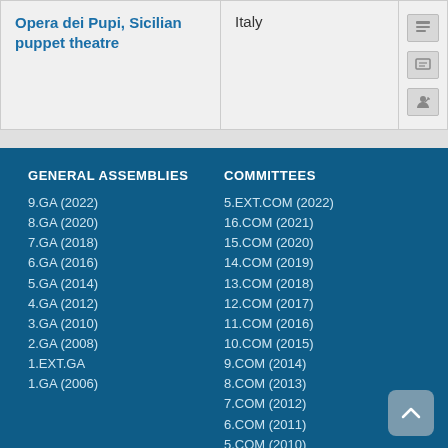| Element | Country | Actions |
| --- | --- | --- |
| Opera dei Pupi, Sicilian puppet theatre | Italy |  |
GENERAL ASSEMBLIES
9.GA (2022)
8.GA (2020)
7.GA (2018)
6.GA (2016)
5.GA (2014)
4.GA (2012)
3.GA (2010)
2.GA (2008)
1.EXT.GA
1.GA (2006)
COMMITTEES
5.EXT.COM (2022)
16.COM (2021)
15.COM (2020)
14.COM (2019)
13.COM (2018)
12.COM (2017)
11.COM (2016)
10.COM (2015)
9.COM (2014)
8.COM (2013)
7.COM (2012)
6.COM (2011)
5.COM (2010)
4.COM (2009)
3.COM (2008)